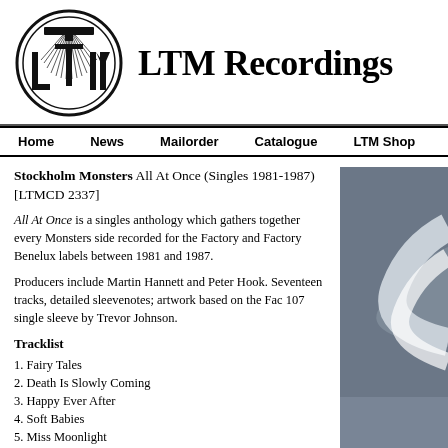[Figure (logo): LTM Recordings circular logo with stylized LTM letters and radiating lines]
LTM Recordings
Home  News  Mailorder  Catalogue  LTM Shop
Stockholm Monsters All At Once (Singles 1981-1987) [LTMCD 2337]
All At Once is a singles anthology which gathers together every Monsters side recorded for the Factory and Factory Benelux labels between 1981 and 1987.
Producers include Martin Hannett and Peter Hook. Seventeen tracks, detailed sleevenotes; artwork based on the Fac 107 single sleeve by Trevor Johnson.
Tracklist
1. Fairy Tales
2. Death Is Slowly Coming
3. Happy Ever After
4. Soft Babies
5. Miss Moonlight
6. Lafayette
7. The Longing
[Figure (illustration): Grey decorative sidebar with curved grey and white shapes]